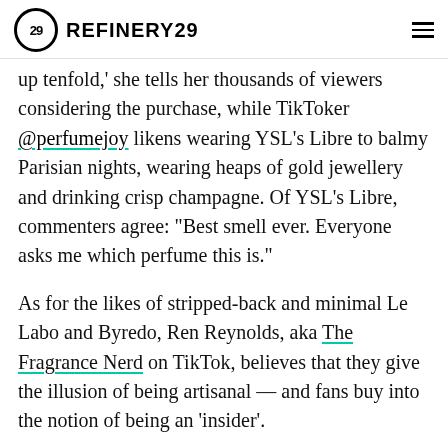REFINERY29
up tenfold,' she tells her thousands of viewers considering the purchase, while TikToker @perfumejoy likens wearing YSL's Libre to balmy Parisian nights, wearing heaps of gold jewellery and drinking crisp champagne. Of YSL's Libre, commenters agree: "Best smell ever. Everyone asks me which perfume this is."
As for the likes of stripped-back and minimal Le Labo and Byredo, Ren Reynolds, aka The Fragrance Nerd on TikTok, believes that they give the illusion of being artisanal — and fans buy into the notion of being an 'insider'.
ADVERTISEMENT
[Figure (screenshot): Advertisement bar at the bottom: dark background with Adidas and ROS logos, 'SUPPORTED BY' text, avatar icon, and a person wearing ski goggles on the right.]